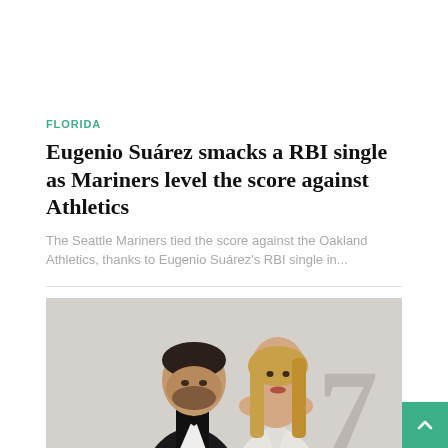FLORIDA
Eugenio Suárez smacks a RBI single as Mariners level the score against Athletics
The Seattle Mariners tied the score against the Oakland Athletics, thanks to Eugenio Suárez's RBI single in...
[Figure (photo): A man in a black tuxedo with bow tie and a woman in a white low-cut dress posing together at what appears to be a red carpet or film festival event, with a large '7' visible in the background.]